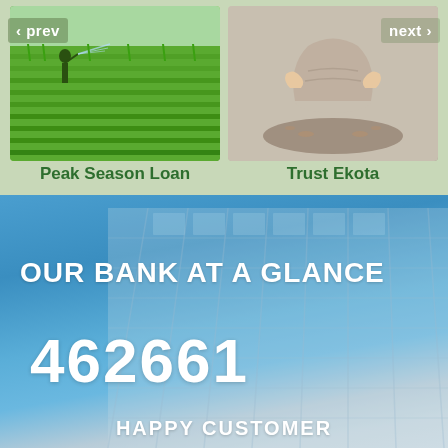[Figure (photo): Rice paddy field with farmer spraying water, green crop rows visible]
[Figure (photo): Hands shaping clay on a pottery wheel, craft/artisan work]
Peak Season Loan
Trust Ekota
[Figure (photo): Glass office building facade photographed from below against blue sky, bank headquarters]
OUR BANK AT A GLANCE
462661
HAPPY CUSTOMER